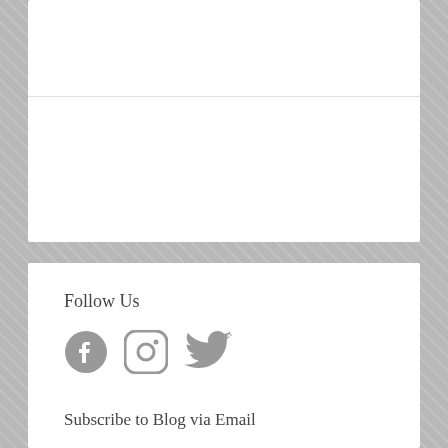Follow Us
[Figure (illustration): Social media icons: Facebook, Instagram, Twitter in gray]
Subscribe to Blog via Email
Enter your email address to subscribe to this blog and receive notifications of new posts by email.
Email Address